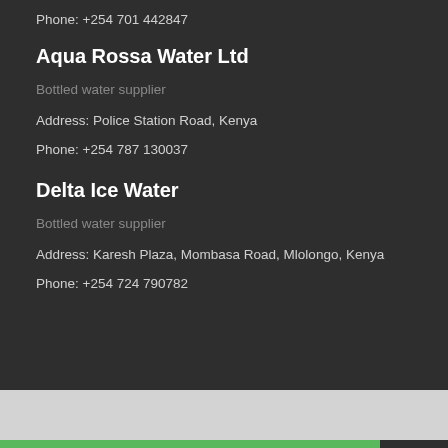Phone: +254 701 442847
Aqua Rossa Water Ltd
Bottled water supplier
Address: Police Station Road, Kenya
Phone: +254 787 130037
Delta Ice Water
Bottled water supplier
Address: Karesh Plaza, Mombasa Road, Mlolongo, Kenya
Phone: +254 724 790782